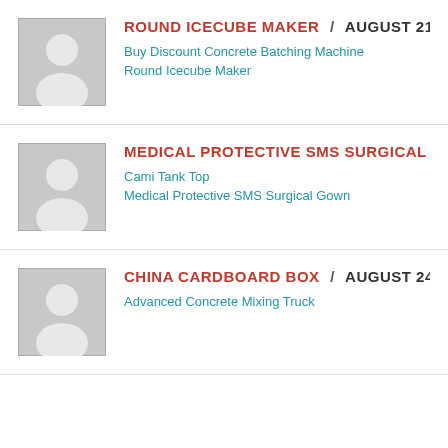ROUND ICECUBE MAKER / AUGUST 21, 2022
Buy Discount Concrete Batching Machine
Round Icecube Maker
MEDICAL PROTECTIVE SMS SURGICAL GOWN / AUGUS...
Cami Tank Top
Medical Protective SMS Surgical Gown
CHINA CARDBOARD BOX / AUGUST 24, 2022
Advanced Concrete Mixing Truck